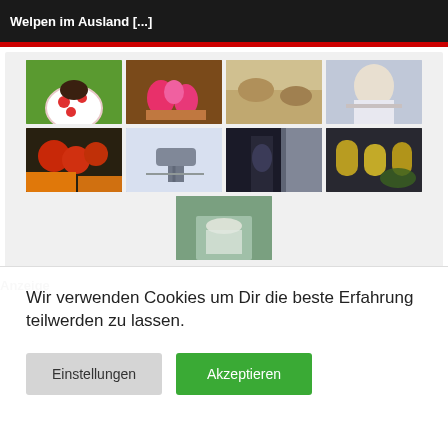Welpen im Ausland [...]
[Figure (photo): Grid of 9 thumbnail photos: puppy in polka-dot cup, pink toy flamingos, cat paws, blonde woman, tomatoes and carrots, security camera, woman at window, cannabis oil bottles, person holding cash]
Anzeige
Wir verwenden Cookies um Dir die beste Erfahrung teilwerden zu lassen.
Einstellungen
Akzeptieren